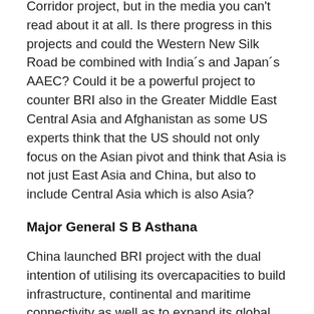Corridor project, but in the media you can't read about it at all. Is there progress in this projects and could the Western New Silk Road be combined with India´s and Japan´s AAEC? Could it be a powerful project to counter BRI also in the Greater Middle East Central Asia and Afghanistan as some US experts think that the US should not only focus on the Asian pivot and think that Asia is not just East Asia and China, but also to include Central Asia which is also Asia?
Major General S B Asthana
China launched BRI project with the dual intention of utilising its overcapacities to build infrastructure, continental and maritime connectivity as well as to expand its global footprint. Over 160 countries adopted it and most of them are now suffering the Sino-centric project, which